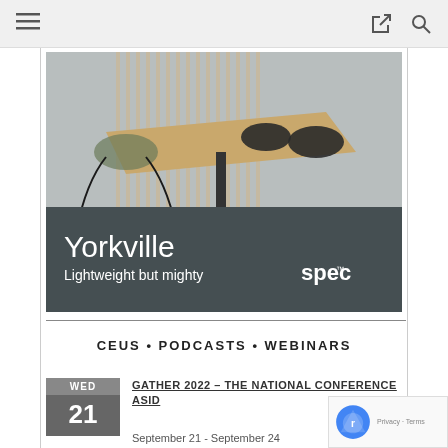Navigation bar with menu, share, and search icons
[Figure (photo): Advertisement photo showing a modern conference table with chairs in an office setting. White text overlay reads 'Yorkville' and 'Lightweight but mighty' with the 'spec' brand logo in lowercase.]
CEUS • PODCASTS • WEBINARS
GATHER 2022 – THE NATIONAL CONFERENCE ASID
September 21 - September 24